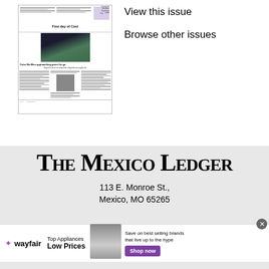[Figure (screenshot): Thumbnail image of a newspaper front page showing 'First day of Cool' headline with photo of students, and 'Color Me Bleu approaching green for go' headline below]
View this issue
Browse other issues
[Figure (logo): The Mexico Ledger masthead logo in blackletter style font on a gray background]
113 E. Monroe St., Mexico, MO 65265
[Figure (infographic): Wayfair advertisement banner: Top Appliances Low Prices, Save on best selling brands that live up to the hype, Shop now button]